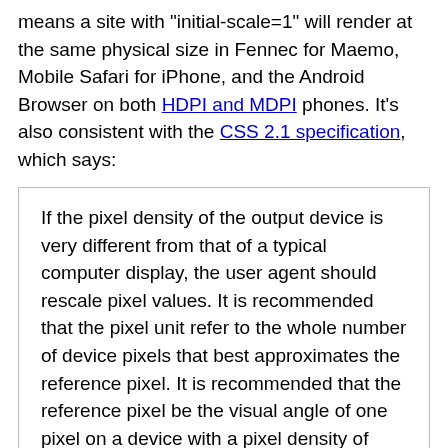means a site with "initial-scale=1" will render at the same physical size in Fennec for Maemo, Mobile Safari for iPhone, and the Android Browser on both HDPI and MDPI phones. It's also consistent with the CSS 2.1 specification, which says:
If the pixel density of the output device is very different from that of a typical computer display, the user agent should rescale pixel values. It is recommended that the pixel unit refer to the whole number of device pixels that best approximates the reference pixel. It is recommended that the reference pixel be the visual angle of one pixel on a device with a pixel density of 96dpi and a distance from the reader of an arm's length.
This change only affects web pages that explicitly set the viewport size or scale. The pixel ratio is 1.5 applies only if the viewport scale is set to 1. The size of a "pixel" on any page changes with the zoom level, and the default zoom level for most pages in Fennec has not changed.